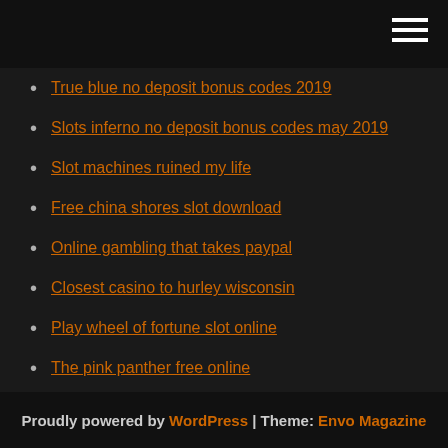True blue no deposit bonus codes 2019
Slots inferno no deposit bonus codes may 2019
Slot machines ruined my life
Free china shores slot download
Online gambling that takes paypal
Closest casino to hurley wisconsin
Play wheel of fortune slot online
The pink panther free online
Play free casino slots bonus games
Igt slots cleopatra ii patch
Casserole tefal ingenio geant casino
Proudly powered by WordPress | Theme: Envo Magazine